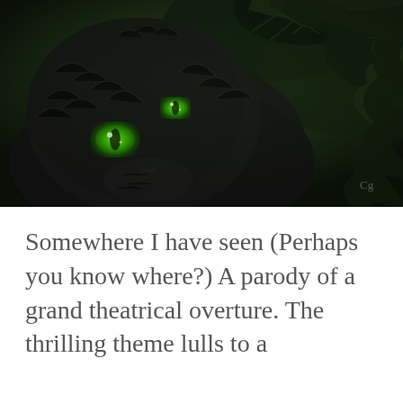[Figure (illustration): Digital fantasy illustration of a black cat with glowing green eyes, surrounded by dark pine tree branches, rendered in a detailed painterly style. Artist initials 'Cg' visible in lower right corner.]
Somewhere I have seen (Perhaps you know where?) A parody of a grand theatrical overture. The thrilling theme lulls to a